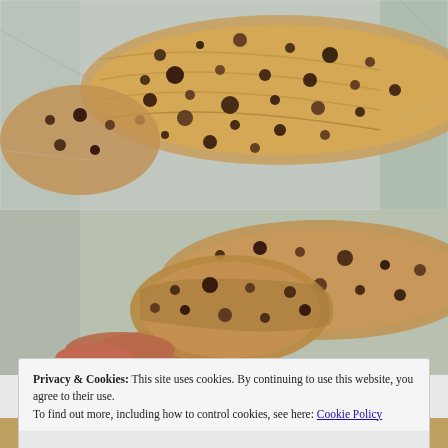[Figure (photo): Close-up photo of grilled or baked fish with dark speckled seasoning on foil]
[Figure (photo): Close-up photo of a hand holding a piece of charred/seasoned fish fillet on foil, with more pieces behind]
Privacy & Cookies: This site uses cookies. By continuing to use this website, you agree to their use.
To find out more, including how to control cookies, see here: Cookie Policy
Close and accept
[Figure (photo): Partial view of more food items at the bottom of the page, partially obscured]